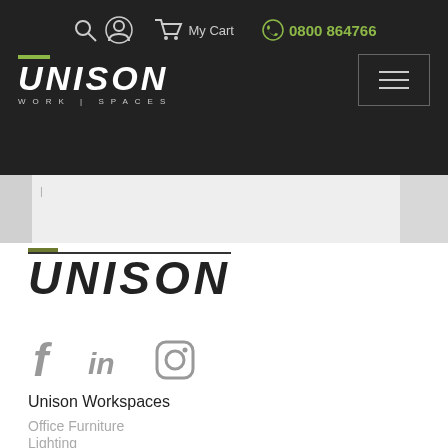Unison Work Spaces — navigation header with search, account, My Cart, phone 0800 864766, logo, and hamburger menu
[Figure (screenshot): Partial gray content area below header, likely a banner/hero image cut off]
[Figure (logo): Unison Work Spaces logo in dark color on white background with olive green accent bar above the U]
[Figure (infographic): Social media icons: Facebook (f), LinkedIn (in), Instagram (camera icon), all in gray]
Unison Workspaces
Office Furniture
Lighting